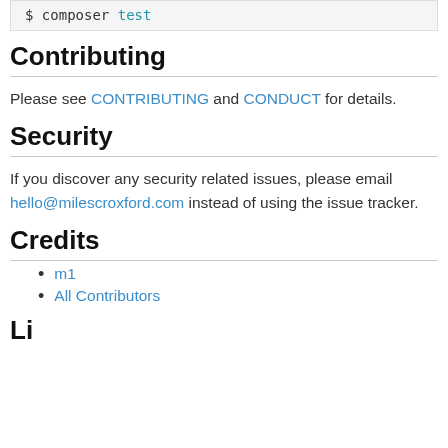$ composer test
Contributing
Please see CONTRIBUTING and CONDUCT for details.
Security
If you discover any security related issues, please email hello@milescroxford.com instead of using the issue tracker.
Credits
m1
All Contributors
Li…